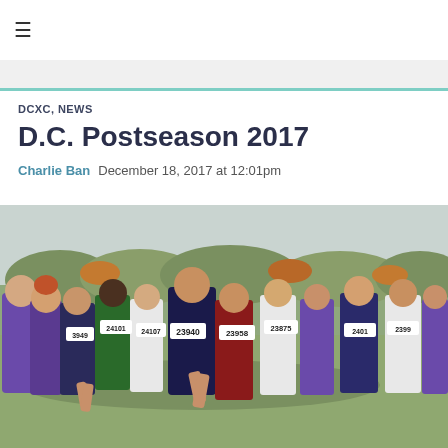≡
DCXC, NEWS
D.C. Postseason 2017
Charlie Ban  December 18, 2017 at 12:01pm
[Figure (photo): Cross country race with many young male runners in numbered bibs competing on a grass course, visible bib numbers include 23940, 23958, 23949, 23875, 24107, 24101 and others. Runners wear various school uniforms including St. Albans navy singlets and purple uniforms.]